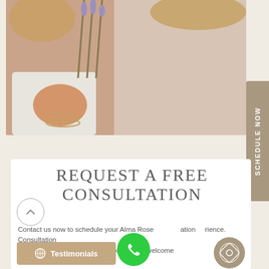[Figure (photo): Woman holding lavender flowers, wearing white top and bracelets, close-up photo with soft beige tones]
REQUEST A FREE CONSULTATION
Contact us now to schedule your Alma Rose ation rience. Consultation free and you will receive a complimentary welcome
[Figure (other): SCHEDULE NOW vertical tab button in taupe/tan color on right side]
[Figure (other): Up arrow navigation circle button]
[Figure (other): Green phone call circular button]
[Figure (other): Testimonials button with star/location icon in tan color]
[Figure (logo): Decorative floral/mandala logo circle in taupe]